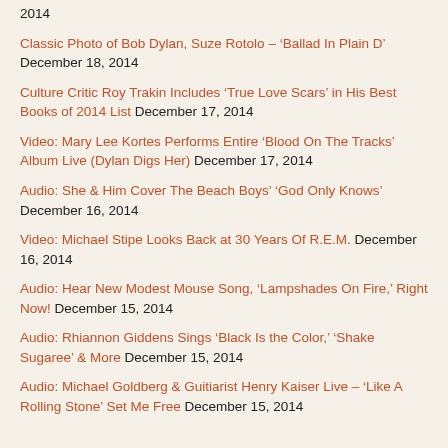2014
Classic Photo of Bob Dylan, Suze Rotolo – ‘Ballad In Plain D’ December 18, 2014
Culture Critic Roy Trakin Includes ‘True Love Scars’ in His Best Books of 2014 List December 17, 2014
Video: Mary Lee Kortes Performs Entire ‘Blood On The Tracks’ Album Live (Dylan Digs Her) December 17, 2014
Audio: She & Him Cover The Beach Boys’ ‘God Only Knows’ December 16, 2014
Video: Michael Stipe Looks Back at 30 Years Of R.E.M. December 16, 2014
Audio: Hear New Modest Mouse Song, ‘Lampshades On Fire,’ Right Now! December 15, 2014
Audio: Rhiannon Giddens Sings ‘Black Is the Color,’ ‘Shake Sugaree’ & More December 15, 2014
Audio: Michael Goldberg & Guitiarist Henry Kaiser Live – ‘Like A Rolling Stone’ Set Me Free December 15, 2014